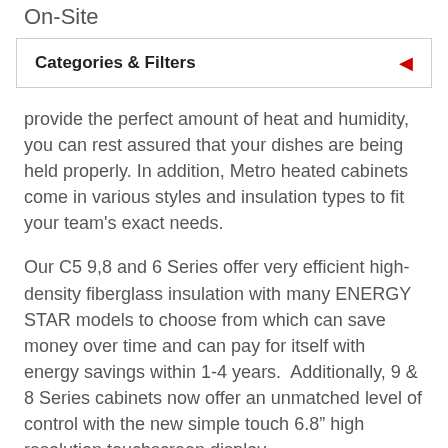On-Site
Categories & Filters
provide the perfect amount of heat and humidity, you can rest assured that your dishes are being held properly. In addition, Metro heated cabinets come in various styles and insulation types to fit your team's exact needs.
Our C5 9,8 and 6 Series offer very efficient high-density fiberglass insulation with many ENERGY STAR models to choose from which can save money over time and can pay for itself with energy savings within 1-4 years.  Additionally, 9 & 8 Series cabinets now offer an unmatched level of control with the new simple touch 6.8” high resolution touchscreen display.
If you are looking for an easy initial investment at the